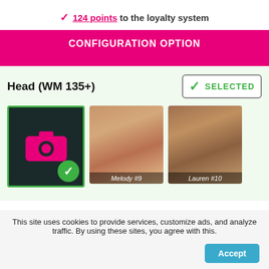✓ 124 points to the loyalty system
CONFIGURATION OPTION
Head (WM 135+)
SELECTED
[Figure (photo): Camera icon on dark background with green checkmark circle]
[Figure (photo): Melody #9 doll head photo]
[Figure (photo): Lauren #10 doll head photo]
This site uses cookies to provide services, customize ads, and analyze traffic. By using these sites, you agree with this.
Accept